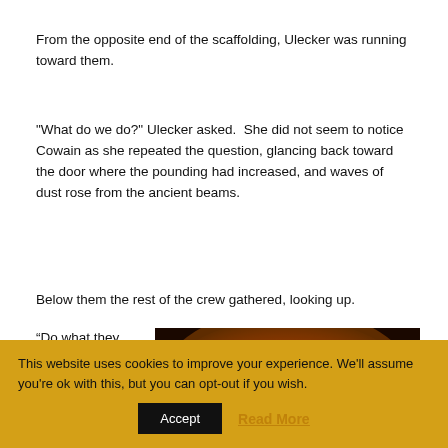From the opposite end of the scaffolding, Ulecker was running toward them.
"What do we do?" Ulecker asked.  She did not seem to notice Cowain as she repeated the question, glancing back toward the door where the pounding had increased, and waves of dust rose from the ancient beams.
Below them the rest of the crew gathered, looking up.
“Do what they say,”
[Figure (photo): Silhouettes of people gathered in front of a bright orange and red fire glow, dark atmospheric scene]
This website uses cookies to improve your experience. We’ll assume you’re ok with this, but you can opt-out if you wish.